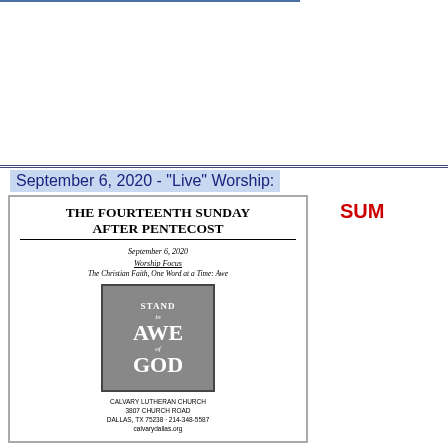September 6, 2020 - "Live" Worship:
[Figure (other): Church bulletin cover for The Fourteenth Sunday After Pentecost, September 6, 2020, Calvary Lutheran Church. Features an image of a book with text 'STAND in AWE of GOD'. Worship Focus: The Christian Faith, One Word at a Time: Awe. Church address: 3807 Church Road, Dallas, TX 75238, 214-348-5587, calvarydallas.org]
SUM